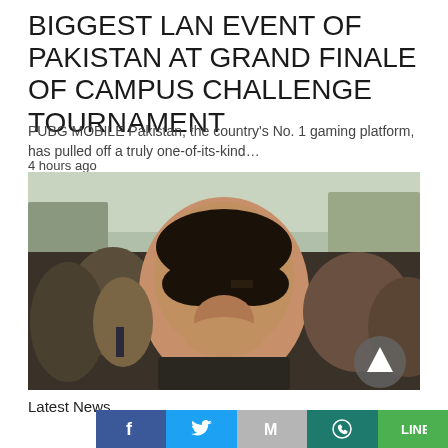BIGGEST LAN EVENT OF PAKISTAN AT GRAND FINALE OF CAMPUS CHALLENGE TOURNAMENT
PUBG MOBILE Pakistan, the country's No. 1 gaming platform, has pulled off a truly one-of-its-kind…
4 hours ago
[Figure (photo): A man wearing sunglasses surrounded by a crowd of people outdoors, with a play button overlay in the bottom-right corner.]
Latest News
[Figure (infographic): Social media share bar with Facebook, Twitter, Gmail, WhatsApp, and LINE buttons.]